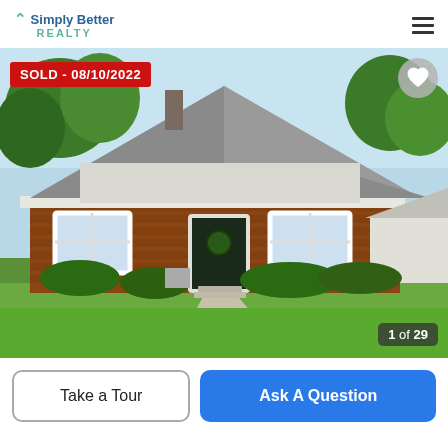Simply Better REALTY
[Figure (photo): Exterior photo of a sold brick ranch-style house with gray roof, white trim, green lawn and trees. Shows SOLD - 08/10/2022 badge in top-left, heart icon in top-right, and '1 of 29' counter in bottom-right.]
SOLD - 08/10/2022
1 of 29
Take a Tour
Ask A Question